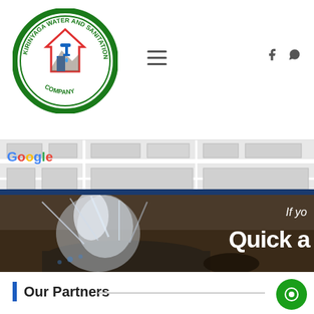[Figure (logo): Kirinyaga Water and Sanitation Company circular logo with a house, faucet, and text around the border in green and blue]
[Figure (screenshot): Website navigation header with hamburger menu icon and Facebook and WhatsApp social icons on the right]
[Figure (map): Google Maps partial screenshot showing street map with building outlines]
[Figure (photo): Hero image of a burst water pipe spraying water with overlay text 'If yo' and 'Quick a' in white]
Our Partners